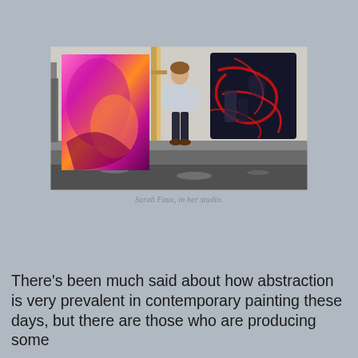[Figure (photo): Sarah Faux standing in her art studio between two large paintings. On the left is a tall pink/magenta abstract painting leaning against the wall. On the right is a dark painting with red swirling lines hanging on the wall. The artist wears a light-colored jacket and dark pants. The studio floor is paint-spattered.]
Sarah Faux, in her studio.
There's been much said about how abstraction is very prevalent in contemporary painting these days, but there are those who are producing some